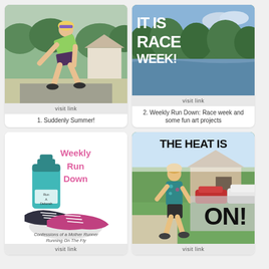[Figure (photo): Woman in green top bending down stretching, outdoor setting with trees and house in background]
visit link
1. Suddenly Summer!
[Figure (photo): Outdoor photo of lake/river with trees, overlaid with bold white text 'IT IS RACE WEEK!']
visit link
2. Weekly Run Down: Race week and some fun art projects
[Figure (illustration): Illustration of running shoes (pink/dark) and a teal water bottle with 'Weekly Run Down' in pink text and 'Confessions of a Mother Runner Running On The Fly' at bottom]
visit link
[Figure (photo): Woman running on suburban sidewalk with bold black text overlay 'THE HEAT IS ON!' on semi-transparent background]
visit link